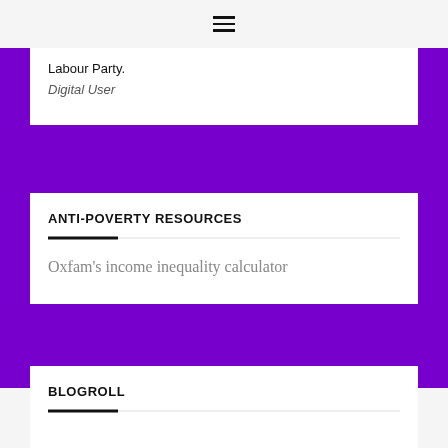≡
Labour Party.
Digital User
ANTI-POVERTY RESOURCES
Oxfam's income inequality calculator
BLOGROLL